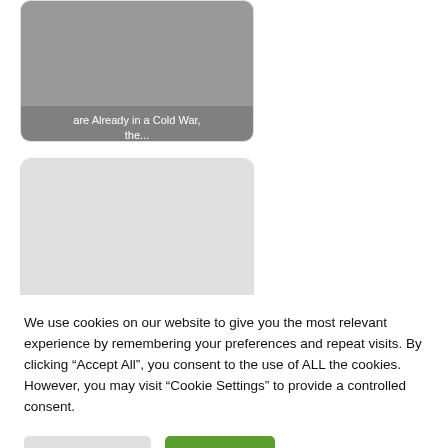[Figure (screenshot): Card with grey image area and text caption reading '...are Already in a Cold War, the...']
[Figure (screenshot): Card with light grey image area and text caption reading 'REPLAY: Douglas Rushkoff - Avoiding Apocalypse by']
We use cookies on our website to give you the most relevant experience by remembering your preferences and repeat visits. By clicking “Accept All”, you consent to the use of ALL the cookies. However, you may visit "Cookie Settings" to provide a controlled consent.